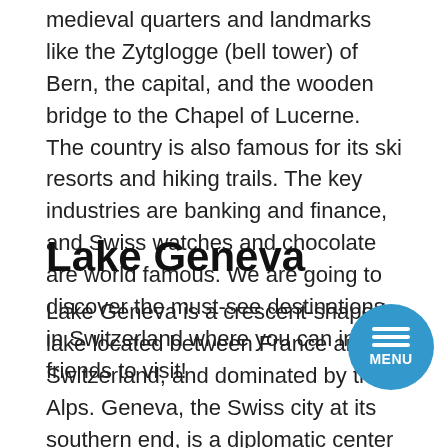medieval quarters and landmarks like the Zytglogge (bell tower) of Bern, the capital, and the wooden bridge to the Chapel of Lucerne. The country is also famous for its ski resorts and hiking trails. The key industries are banking and finance, and Swiss watches and chocolate are world famous. We are going to discover the must-see destinations in Switzerland where you can invite friends to visit!
Lake Geneva
Lake Geneva is a crescent-shaped lake located between France and Switzerland, and dominated by the Alps. Geneva, the Swiss city at its southern end, is a diplomatic center that houses luxury shops and a cobbled old town. To the south, on the French side, is the spa town and seaside resort of Évian-les-Bains. The chic, palm-strewn Swiss Riviera stretches along the north shore from Lausanne to Montreux. Being